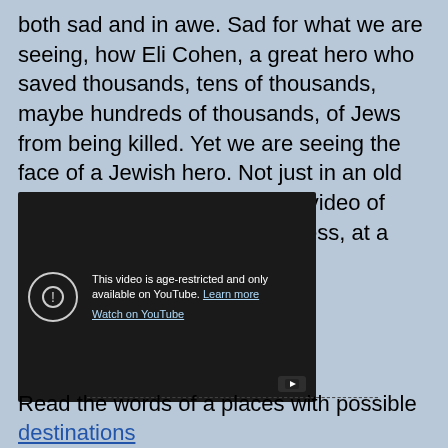both sad and in awe. Sad for what we are seeing, how Eli Cohen, a great hero who saved thousands, tens of thousands, maybe hundreds of thousands, of Jews from being killed. Yet we are seeing the face of a Jewish hero. Not just in an old book or picture, but an actual video of him. We are looking at greatness, at a martyr.
[Figure (screenshot): An embedded YouTube video player showing an age-restricted video. The player displays a dark background with a circle-exclamation icon and the message: 'This video is age-restricted and only available on YouTube. Learn more' with a 'Watch on YouTube' link below, and a YouTube play button icon in the bottom-right corner.]
-------------------------------------------------------
Read the words of a places with possible destinations